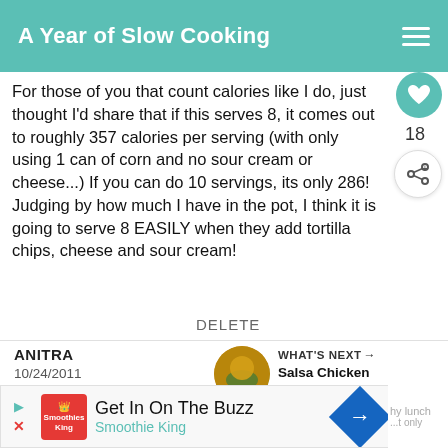A Year of Slow Cooking
For those of you that count calories like I do, just thought I'd share that if this serves 8, it comes out to roughly 357 calories per serving (with only using 1 can of corn and no sour cream or cheese...) If you can do 10 servings, its only 286! Judging by how much I have in the pot, I think it is going to serve 8 EASILY when they add tortilla chips, cheese and sour cream!
DELETE
ANITRA
10/24/2011
[Figure (screenshot): Ad banner: Get In On The Buzz - Smoothie King]
WHAT'S NEXT → Salsa Chicken and Black...